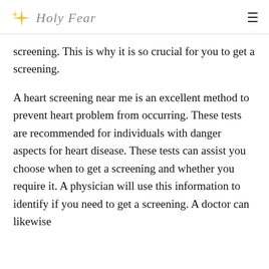Holy Fear
screening. This is why it is so crucial for you to get a screening.
A heart screening near me is an excellent method to prevent heart problem from occurring. These tests are recommended for individuals with danger aspects for heart disease. These tests can assist you choose when to get a screening and whether you require it. A physician will use this information to identify if you need to get a screening. A doctor can likewise